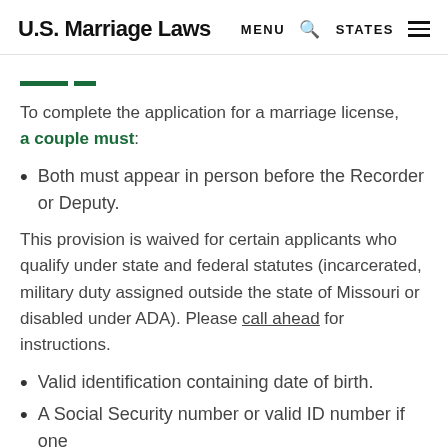U.S. Marriage Laws  MENU  STATES
— –
To complete the application for a marriage license, a couple must:
Both must appear in person before the Recorder or Deputy.
This provision is waived for certain applicants who qualify under state and federal statutes (incarcerated, military duty assigned outside the state of Missouri or disabled under ADA). Please call ahead for instructions.
Valid identification containing date of birth.
A Social Security number or valid ID number if one